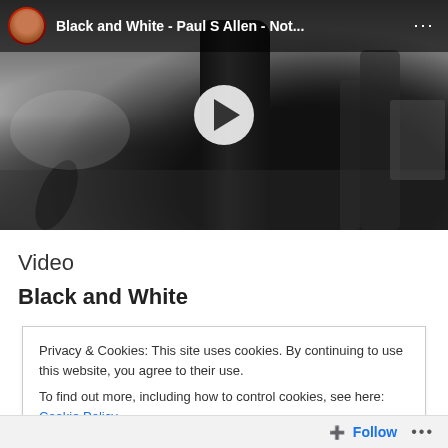[Figure (screenshot): YouTube video thumbnail for 'Black and White - Paul S Allen - Not...' showing a black and white outdoor scene with a tree trunk and a play button overlay. Channel avatar and video title shown in top bar.]
Video
Black and White
Privacy & Cookies: This site uses cookies. By continuing to use this website, you agree to their use.
To find out more, including how to control cookies, see here: Cookie Policy
Close and accept